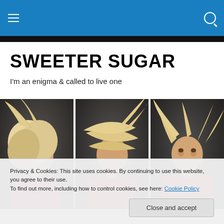Sweeter Sugar — navigation header with hamburger menu and search icon
SWEETER SUGAR
I'm an enigma & called to live one
[Figure (photo): Three panel photo of a blonde woman in a red top tossing her hair, against a dark grey background. Left panel: hair covering face. Center panel: hair flying across face. Right panel: smiling with hair blown back.]
Privacy & Cookies: This site uses cookies. By continuing to use this website, you agree to their use.
To find out more, including how to control cookies, see here: Cookie Policy

Close and accept